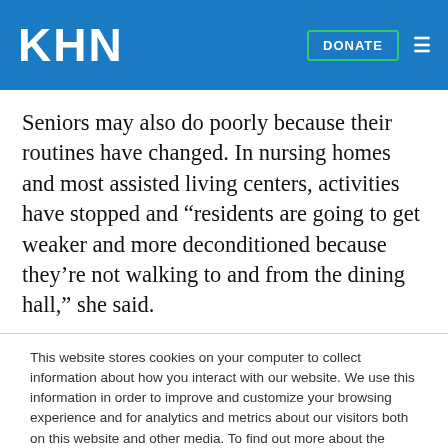KHN
Seniors may also do poorly because their routines have changed. In nursing homes and most assisted living centers, activities have stopped and “residents are going to get weaker and more deconditioned because they’re not walking to and from the dining hall,” she said.
This website stores cookies on your computer to collect information about how you interact with our website. We use this information in order to improve and customize your browsing experience and for analytics and metrics about our visitors both on this website and other media. To find out more about the cookies we use, see our Privacy Policy.
Accept